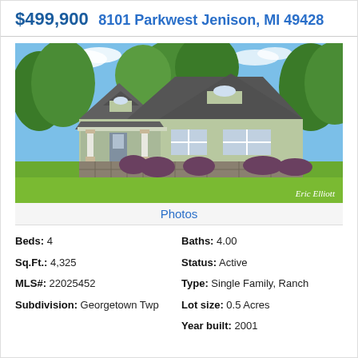$499,900  8101 Parkwest Jenison, MI 49428
[Figure (photo): Exterior photo of a single-family ranch-style home with sage green siding, stone accents, covered porch with white columns, lush green lawn, and mature trees in background. Photo credit: Eric Elliott]
Photos
| Beds: 4 | Baths: 4.00 |
| Sq.Ft.: 4,325 | Status: Active |
| MLS#: 22025452 | Type: Single Family, Ranch |
| Subdivision: Georgetown Twp | Lot size: 0.5 Acres |
|  | Year built: 2001 |